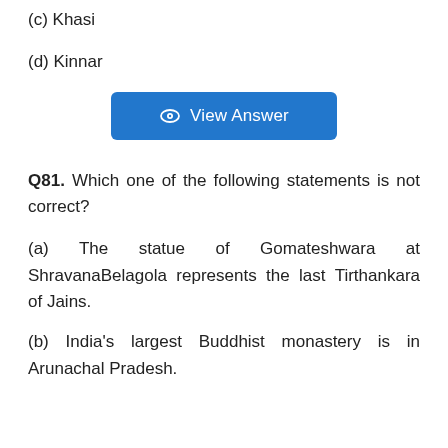(c) Khasi
(d) Kinnar
[Figure (other): Blue 'View Answer' button with eye icon]
Q81. Which one of the following statements is not correct?
(a) The statue of Gomateshwara at ShravanaBelagola represents the last Tirthankara of Jains.
(b) India's largest Buddhist monastery is in Arunachal Pradesh.